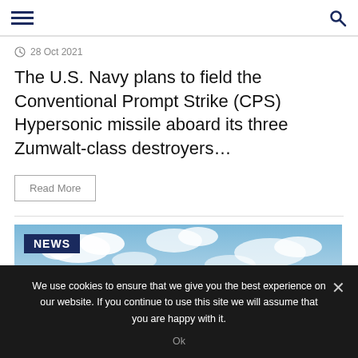Navigation bar with hamburger menu and search icon
28 Oct 2021
The U.S. Navy plans to field the Conventional Prompt Strike (CPS) Hypersonic missile aboard its three Zumwalt-class destroyers…
Read More
[Figure (photo): Sky with clouds background image with a dark blue NEWS label overlay in the bottom-left area]
We use cookies to ensure that we give you the best experience on our website. If you continue to use this site we will assume that you are happy with it.
Ok